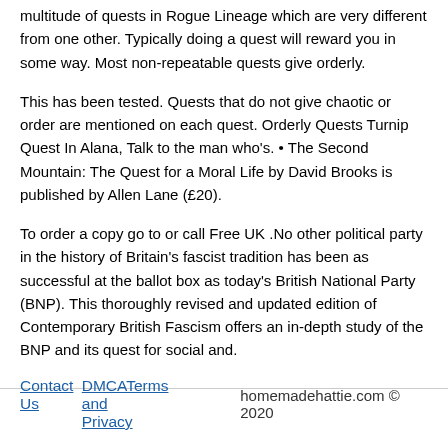multitude of quests in Rogue Lineage which are very different from one other. Typically doing a quest will reward you in some way. Most non-repeatable quests give orderly.
This has been tested. Quests that do not give chaotic or order are mentioned on each quest. Orderly Quests Turnip Quest In Alana, Talk to the man who's. • The Second Mountain: The Quest for a Moral Life by David Brooks is published by Allen Lane (£20).
To order a copy go to or call Free UK .No other political party in the history of Britain's fascist tradition has been as successful at the ballot box as today's British National Party (BNP). This thoroughly revised and updated edition of Contemporary British Fascism offers an in-depth study of the BNP and its quest for social and.
Contact Us   DMCATerms and Privacy   homemadehattie.com © 2020